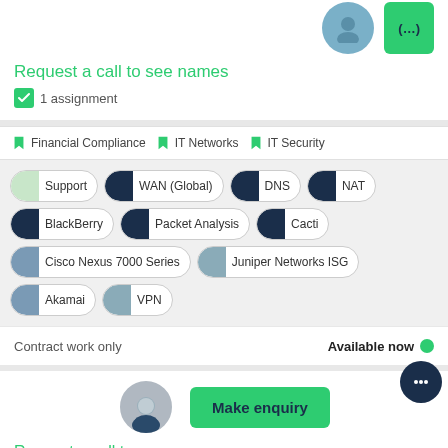Request a call to see names
1 assignment
Financial Compliance  IT Networks  IT Security
[Figure (infographic): Skill tags/pills: Support (light green dot), WAN (Global) (navy dot), DNS (navy dot), NAT (navy dot), BlackBerry (navy dot), Packet Analysis (navy dot), Cacti (navy dot), Cisco Nexus 7000 Series (slate dot), Juniper Networks ISG (slate dot), Akamai (slate dot), VPN (slate dot)]
Contract work only
Available now
[Figure (screenshot): Bottom card with avatar circle, Make enquiry green button, chat bubble icon in dark navy]
Request a call to see names